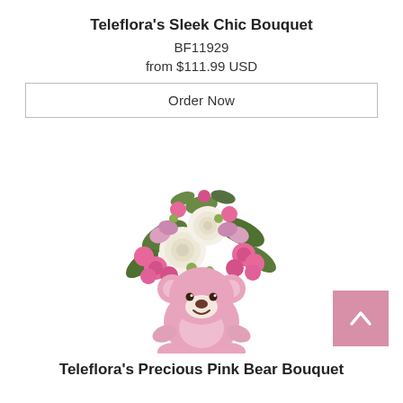Teleflora's Sleek Chic Bouquet
BF11929
from $111.99 USD
Order Now
[Figure (photo): A floral bouquet arrangement with white roses, pink miniature carnations, pink alstroemeria, and greenery in a pink ceramic teddy bear vase.]
Teleflora's Precious Pink Bear Bouquet